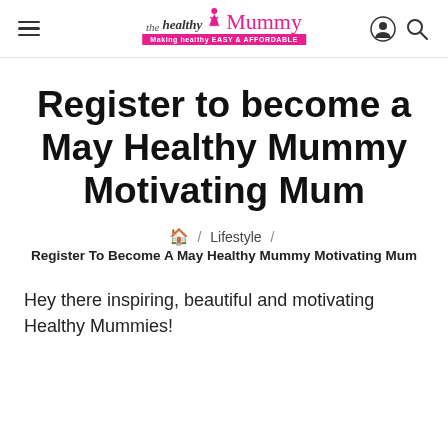the healthy Mummy — Making healthy EASY & AFFORDABLE
Register to become a May Healthy Mummy Motivating Mum
🏠 / Lifestyle / Register To Become A May Healthy Mummy Motivating Mum
Hey there inspiring, beautiful and motivating Healthy Mummies!